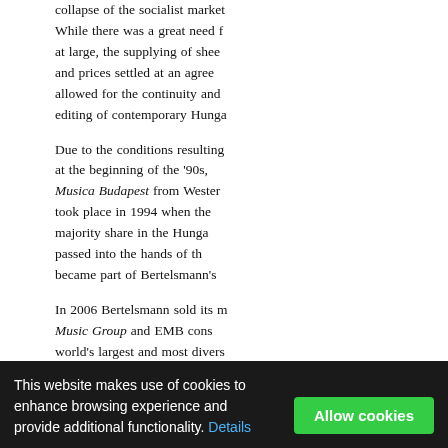collapse of the socialist market… While there was a great need for music at large, the supplying of sheet music and prices settled at an agreed level allowed for the continuity and editing of contemporary Hungarian music.
Due to the conditions resulting at the beginning of the '90s, Musica Budapest from Western took place in 1994 when the majority share in the Hungarian passed into the hands of the became part of Bertelsmann's
In 2006 Bertelsmann sold its music Music Group and EMB cons world's largest and most diverse
In September 2017, Universal
This website makes use of cookies to enhance browsing experience and provide additional functionality. Details